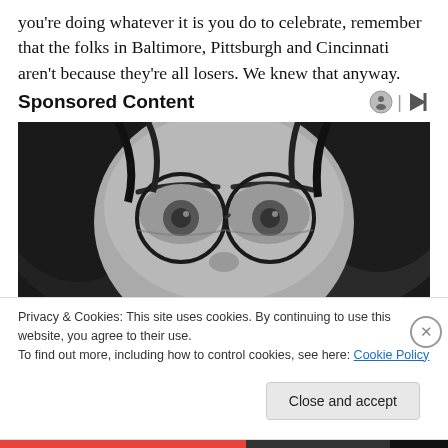you're doing whatever it is you do to celebrate, remember that the folks in Baltimore, Pittsburgh and Cincinnati aren't because they're all losers. We knew that anyway.
Sponsored Content
[Figure (photo): Black and white close-up photo of a person with long dark hair and round wire-framed glasses, showing mainly the eyes, glasses, and part of the nose.]
Privacy & Cookies: This site uses cookies. By continuing to use this website, you agree to their use.
To find out more, including how to control cookies, see here: Cookie Policy
Close and accept